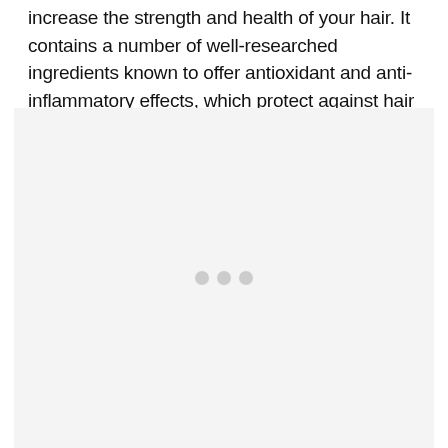increase the strength and health of your hair. It contains a number of well-researched ingredients known to offer antioxidant and anti-inflammatory effects, which protect against hair damage.
[Figure (other): A light gray placeholder image area with three gray loading dots centered in the middle, indicating an image is loading or unavailable.]